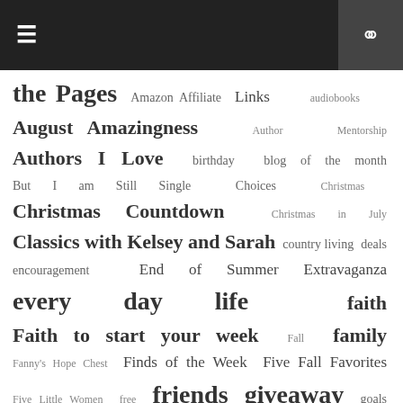Navigation bar with menu and search icons
the Pages Amazon Affiliate Links audiobooks August Amazingness Author Mentorship Authors I Love birthday blog of the month But I am Still Single Choices Christmas Christmas Countdown Christmas in July Classics with Kelsey and Sarah country living deals encouragement End of Summer Extravaganza every day life faith Faith to start your week Fall family Fanny's Hope Chest Finds of the Week Five Fall Favorites Five Little Women free friends giveaway goals Guest Writer history holiday